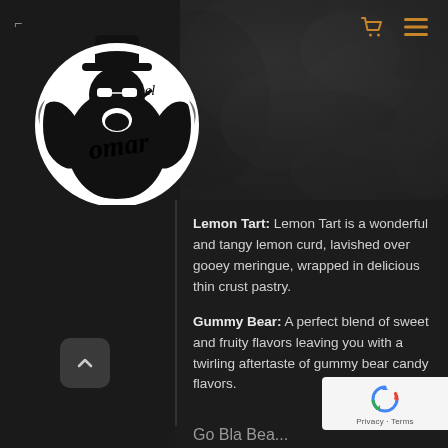[Figure (logo): El Omar brand logo: circular black and white illustration of a stylized man with sunglasses and the text 'omar' in script, with decorative elements]
Lemon Tart: Lemon Tart is a wonderful and tangy lemon curd, lavished over gooey meringue, wrapped in delicious thin crust pastry.
Gummy Bear: A perfect blend of sweet and fruity flavors leaving you with a twirling aftertaste of gummy bear candy flavors.
[Figure (other): Google reCAPTCHA badge with recycling arrows icon and Privacy - Terms links]